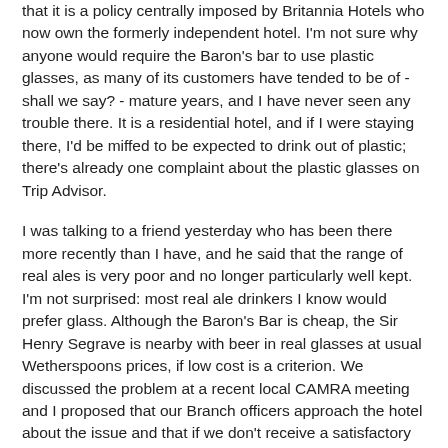that it is a policy centrally imposed by Britannia Hotels who now own the formerly independent hotel. I'm not sure why anyone would require the Baron's bar to use plastic glasses, as many of its customers have tended to be of - shall we say? - mature years, and I have never seen any trouble there. It is a residential hotel, and if I were staying there, I'd be miffed to be expected to drink out of plastic; there's already one complaint about the plastic glasses on Trip Advisor.
I was talking to a friend yesterday who has been there more recently than I have, and he said that the range of real ales is very poor and no longer particularly well kept. I'm not surprised: most real ale drinkers I know would prefer glass. Although the Baron's Bar is cheap, the Sir Henry Segrave is nearby with beer in real glasses at usual Wetherspoons prices, if low cost is a criterion. We discussed the problem at a recent local CAMRA meeting and I proposed that our Branch officers approach the hotel about the issue and that if we don't receive a satisfactory answer, or if they won't speak to us, we delete it from the GBG. I've held off writing about this in the hope that the situation would be resolved